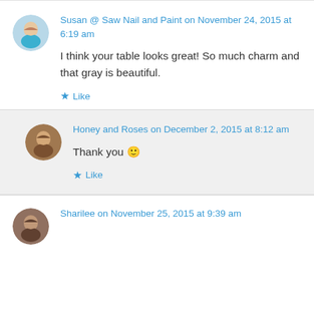Susan @ Saw Nail and Paint on November 24, 2015 at 6:19 am
I think your table looks great! So much charm and that gray is beautiful.
Like
Honey and Roses on December 2, 2015 at 8:12 am
Thank you 🙂
Like
Sharilee on November 25, 2015 at 9:39 am